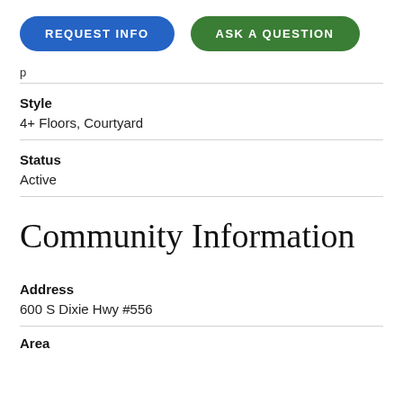[Figure (other): Two pill-shaped buttons: 'REQUEST INFO' in blue and 'ASK A QUESTION' in green]
p
Style
4+ Floors, Courtyard
Status
Active
Community Information
Address
600 S Dixie Hwy #556
Area